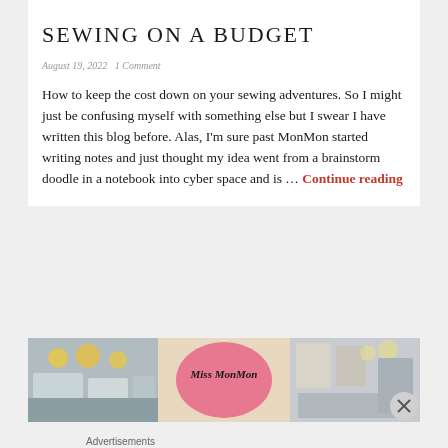SEWING ON A BUDGET
August 19, 2022   1 Comment
How to keep the cost down on your sewing adventures. So I might just be confusing myself with something else but I swear I have written this blog before. Alas, I'm sure past MonMon started writing notes and just thought my idea went from a brainstorm doodle in a notebook into cyber space and is … Continue reading
[Figure (photo): Collage of photographs showing various items at what appears to be a market or shop, with a pink circular sign reading 'Miss MonMon' in the center. A close button (X) appears in the bottom right corner.]
Advertisements